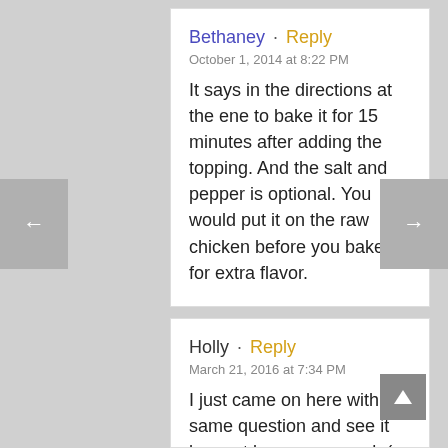Bethaney · Reply
October 1, 2014 at 8:22 PM
It says in the directions at the ene to bake it for 15 minutes after adding the topping. And the salt and pepper is optional. You would put it on the raw chicken before you bake it for extra flavor.
Holly · Reply
March 21, 2016 at 7:34 PM
I just came on here with the same question and see it has not been answered :( Looks like it was baked for a bit before the topping but I'll